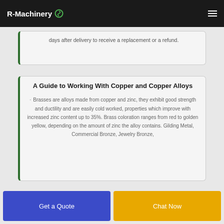R-Machinery
days after delivery to receive a replacement or a refund.
A Guide to Working With Copper and Copper Alloys
Brasses are alloys made from copper and zinc, they exhibit good strength and ductility and are easily cold worked, properties which improve with increased zinc content up to 35%. Brass coloration ranges from red to golden yellow, depending on the amount of zinc the alloy contains. Gilding Metal, Commercial Bronze, Jewelry Bronze,
Get a Quote
Chat Now